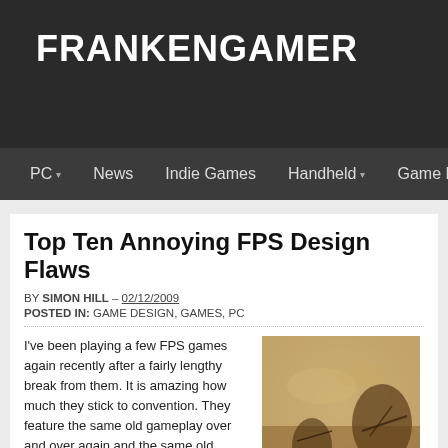FRANKENGAMER
PC | News | Indie Games | Handheld | Game Design | Ed
Top Ten Annoying FPS Design Flaws
BY SIMON HILL – 02/12/2009
POSTED IN: GAME DESIGN, GAMES, PC
I've been playing a few FPS games again recently after a fairly lengthy break from them. It is amazing how much they stick to convention. They feature the same old gameplay over and over again and the same old problems. Here is my top ten of annoying FPS game design and behaviour.
Enemies spawning in behind me. I just checked that room, it was empty. Why does me standing on
[Figure (illustration): Sepia-toned illustration of a battle scene with soldiers and weapons]